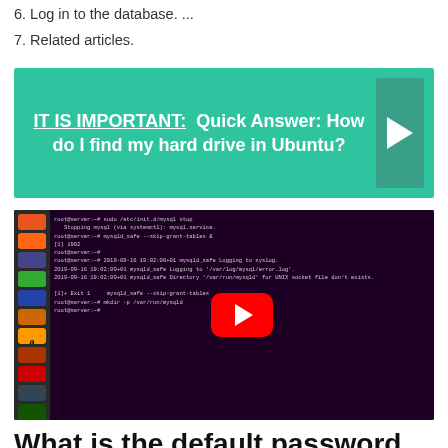6. Log in to the database. ...
7. Related articles.
[Figure (infographic): Teal banner with bold white text: IT IS IMPORTANT: Quick Answer: How do I find my hard drive in Ubuntu? with a right-arrow chevron on the right side.]
[Figure (screenshot): Screenshot of a Ubuntu terminal session showing MySQL commands, with a YouTube play button overlay in the center.]
What is the default password for phpMyAdmin?